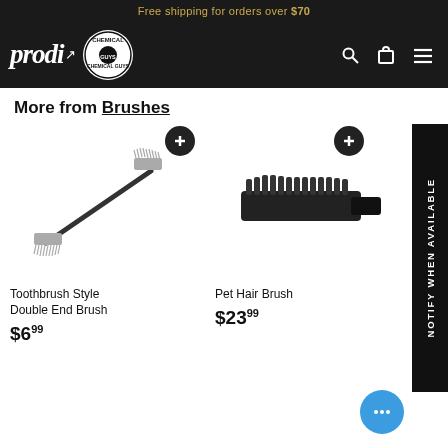Free shipping for orders over $70
[Figure (logo): Prodi and Chemical Guys logos with navigation icons (search, cart, menu)]
More from Brushes
[Figure (photo): Toothbrush Style Double End Brush - a thin black brush with bristles at both ends]
Toothbrush Style Double End Brush
$6.99
[Figure (photo): Pet Hair Brush - a black rectangular brush with dense bristles]
Pet Hair Brush
$23.99
NOTIFY WHEN AVAILABLE